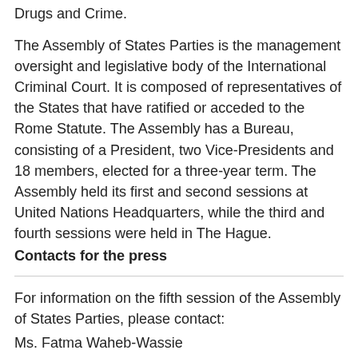Drugs and Crime.
The Assembly of States Parties is the management oversight and legislative body of the International Criminal Court. It is composed of representatives of the States that have ratified or acceded to the Rome Statute. The Assembly has a Bureau, consisting of a President, two Vice-Presidents and 18 members, elected for a three-year term. The Assembly held its first and second sessions at United Nations Headquarters, while the third and fourth sessions were held in The Hague.
Contacts for the press
For information on the fifth session of the Assembly of States Parties, please contact:
Ms. Fatma Waheb-Wassie
Mobile:        +31-652-671-483